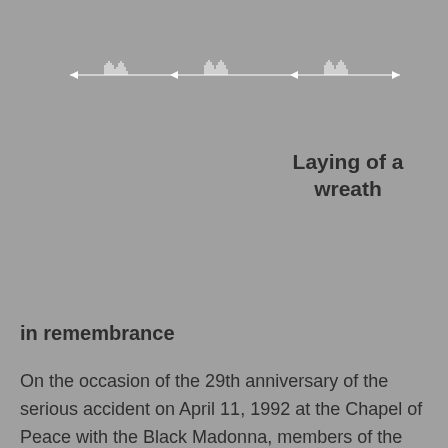[Figure (illustration): A decorative horizontal divider line resembling a floral or ornamental wreath/garland motif rendered in white/light lines on a grey background, spanning most of the page width.]
Laying of a wreath
in remembrance
On the occasion of the 29th anniversary of the serious accident on April 11, 1992 at the Chapel of Peace with the Black Madonna, members of the Board Peace Museum